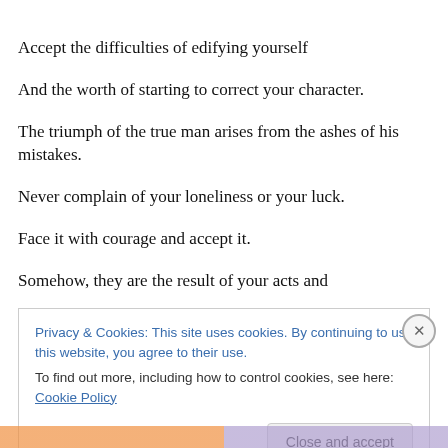Accept the difficulties of edifying yourself
And the worth of starting to correct your character.
The triumph of the true man arises from the ashes of his mistakes.
Never complain of your loneliness or your luck.
Face it with courage and accept it.
Somehow, they are the result of your acts and
Privacy & Cookies: This site uses cookies. By continuing to use this website, you agree to their use.
To find out more, including how to control cookies, see here: Cookie Policy
Close and accept